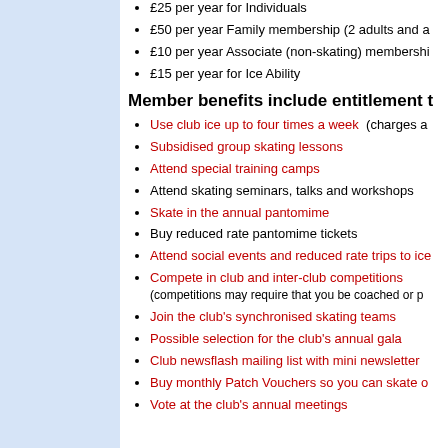£25 per year for Individuals
£50 per year Family membership (2 adults and a
£10 per year Associate (non-skating) membershi
£15 per year for Ice Ability
Member benefits include entitlement t
Use club ice up to four times a week  (charges a
Subsidised group skating lessons
Attend special training camps
Attend skating seminars, talks and workshops
Skate in the annual pantomime
Buy reduced rate pantomime tickets
Attend social events and reduced rate trips to ice
Compete in club and inter-club competitions (competitions may require that you be coached or p
Join the club's synchronised skating teams
Possible selection for the club's annual gala
Club newsflash mailing list with mini newsletter
Buy monthly Patch Vouchers so you can skate o
Vote at the club's annual meetings